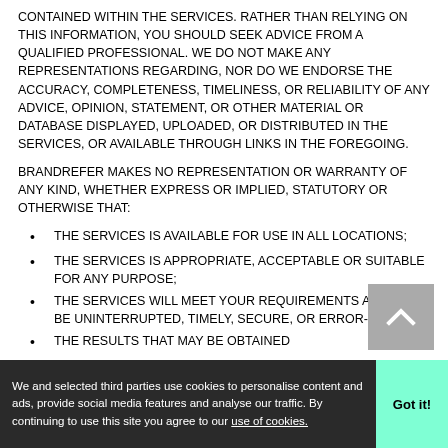CONTAINED WITHIN THE SERVICES. RATHER THAN RELYING ON THIS INFORMATION, YOU SHOULD SEEK ADVICE FROM A QUALIFIED PROFESSIONAL. WE DO NOT MAKE ANY REPRESENTATIONS REGARDING, NOR DO WE ENDORSE THE ACCURACY, COMPLETENESS, TIMELINESS, OR RELIABILITY OF ANY ADVICE, OPINION, STATEMENT, OR OTHER MATERIAL OR DATABASE DISPLAYED, UPLOADED, OR DISTRIBUTED IN THE SERVICES, OR AVAILABLE THROUGH LINKS IN THE FOREGOING.
BRANDREFER MAKES NO REPRESENTATION OR WARRANTY OF ANY KIND, WHETHER EXPRESS OR IMPLIED, STATUTORY OR OTHERWISE THAT:
THE SERVICES IS AVAILABLE FOR USE IN ALL LOCATIONS;
THE SERVICES IS APPROPRIATE, ACCEPTABLE OR SUITABLE FOR ANY PURPOSE;
THE SERVICES WILL MEET YOUR REQUIREMENTS AND WILL BE UNINTERRUPTED, TIMELY, SECURE, OR ERROR-FREE;
THE RESULTS THAT MAY BE OBTAINED
We and selected third parties use cookies to personalise content and ads, provide social media features and analyse our traffic. By continuing to use this site you agree to our use of cookies.